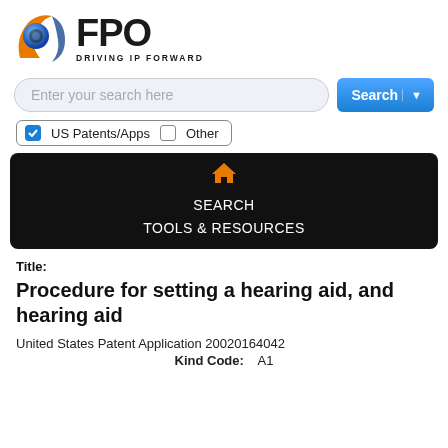[Figure (logo): FPO logo with blue and orange circular icon and text 'FPO DRIVING IP FORWARD']
[Figure (screenshot): Search bar with placeholder 'Enter your search here' and a blue Search button with dropdown arrow]
[Figure (screenshot): Checkbox pill with checked 'US Patents/Apps' and unchecked 'Other']
[Figure (screenshot): Black navigation bar with orange home icon, SEARCH and TOOLS & RESOURCES links]
Title:
Procedure for setting a hearing aid, and hearing aid
United States Patent Application 20020164042
Kind Code:    A1